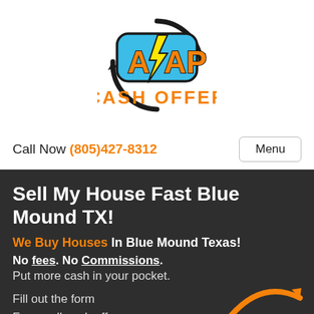[Figure (logo): ASAP Cash Offer logo with lightning bolt, circular arrows, and 'CASH OFFER' text in orange below]
Call Now (805)427-8312
Menu
Sell My House Fast Blue Mound TX!
We Buy Houses In Blue Mound Texas!
No fees. No Commissions. Put more cash in your pocket.
Fill out the form
For an all-cash offer: